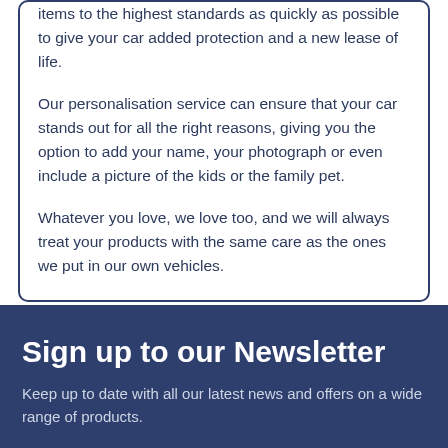items to the highest standards as quickly as possible to give your car added protection and a new lease of life.
Our personalisation service can ensure that your car stands out for all the right reasons, giving you the option to add your name, your photograph or even include a picture of the kids or the family pet.
Whatever you love, we love too, and we will always treat your products with the same care as the ones we put in our own vehicles.
Sign up to our Newsletter
Keep up to date with all our latest news and offers on a wide range of products.